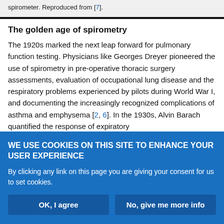spirometer. Reproduced from [7].
The golden age of spirometry
The 1920s marked the next leap forward for pulmonary function testing. Physicians like Georges Dreyer pioneered the use of spirometry in pre-operative thoracic surgery assessments, evaluation of occupational lung disease and the respiratory problems experienced by pilots during World War I, and documenting the increasingly recognized complications of asthma and emphysema [2, 6]. In the 1930s, Alvin Barach quantified the response of expiratory
WE USE COOKIES ON THIS SITE TO ENHANCE YOUR USER EXPERIENCE

By clicking any link on this page you are giving your consent for us to set cookies.